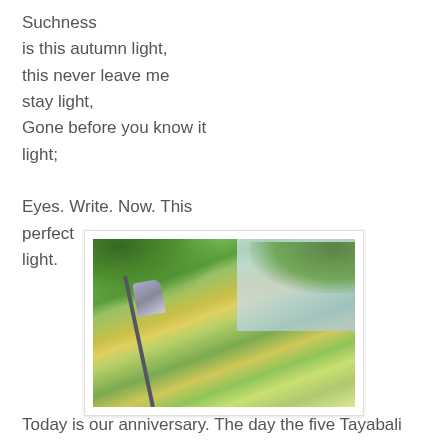Suchness
is this autumn light,
this never leave me stay light,
Gone before you know it light;

Eyes. Write. Now. This perfect
light.
[Figure (photo): Outdoor autumn scene photographed looking upward at trees with green and golden-yellow foliage, bright sky visible through the branches, and a street lamp post with a classic lamp head in the lower left area.]
Today is our anniversary. The day the five Tayabali